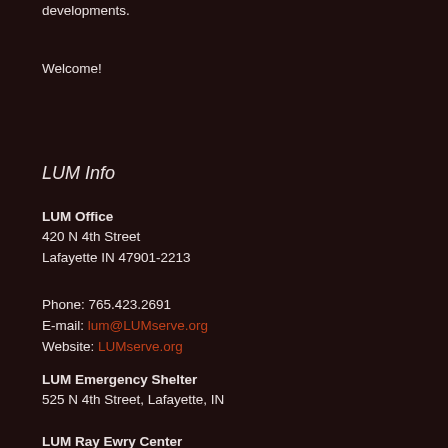developments.
Welcome!
LUM Info
LUM Office
420 N 4th Street
Lafayette IN 47901-2213
Phone: 765.423.2691
E-mail: lum@LUMserve.org
Website: LUMserve.org
LUM Emergency Shelter
525 N 4th Street, Lafayette, IN
LUM Ray Ewry Center